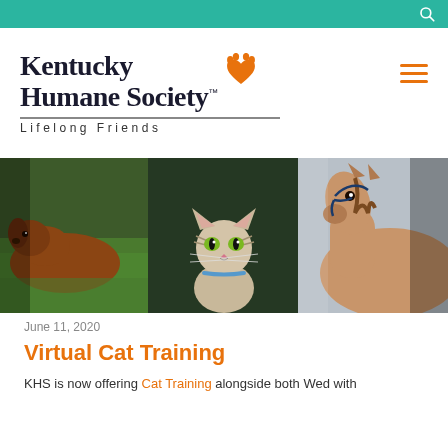[Figure (logo): Kentucky Humane Society logo with orange paw print icon and tagline 'Lifelong Friends']
[Figure (photo): Banner photo showing three animals side by side: a brown dog lying on green grass (left), a tabby cat looking up (center), and a brown horse with halter (right)]
June 11, 2020
Virtual Cat Training
KHS is now offering Cat Training alongside both Wed with